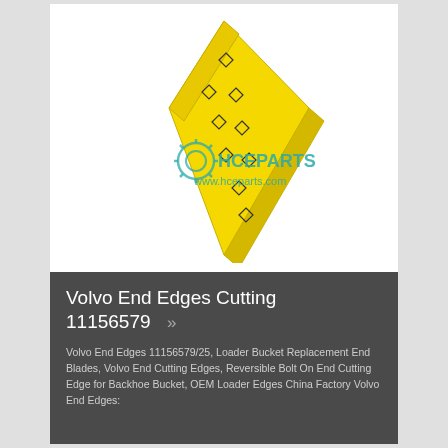[Figure (illustration): Yellow diamond/kite-shaped cutting edge blade (Volvo End Edges 11156579) shown in perspective 3D view with multiple diamond-shaped bolt holes. HCEParts watermark logo and www.hceparts.com text overlay in teal.]
Volvo End Edges Cutting 11156579 >>
Volvo End Edges 11156579/25, Loader Bucket Replacement End Blades, Volvo End Cutting Edges, Reversible Bolt On End Cutting Edge for Backhoe Bucket, OEM Loader Edges China Factory Volvo End Edges: